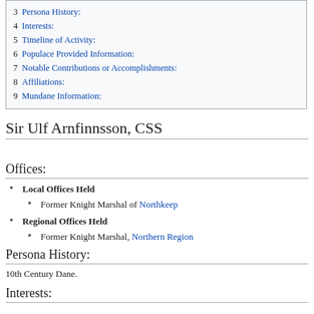3 Persona History:
4 Interests:
5 Timeline of Activity:
6 Populace Provided Information:
7 Notable Contributions or Accomplishments:
8 Affiliations:
9 Mundane Information:
Sir Ulf Arnfinnsson, CSS
Offices:
Local Offices Held
Former Knight Marshal of Northkeep
Regional Offices Held
Former Knight Marshal, Northern Region
Persona History:
10th Century Dane.
Interests: